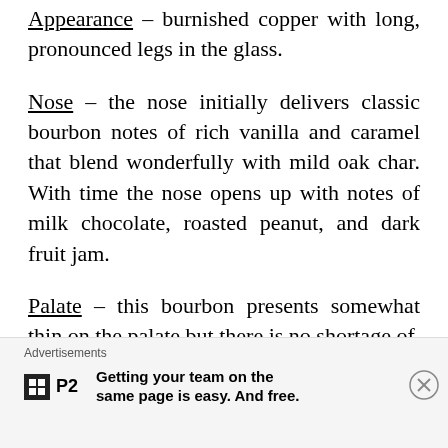Appearance – burnished copper with long, pronounced legs in the glass.
Nose – the nose initially delivers classic bourbon notes of rich vanilla and caramel that blend wonderfully with mild oak char. With time the nose opens up with notes of milk chocolate, roasted peanut, and dark fruit jam.
Palate – this bourbon presents somewhat thin on the palate but there is no shortage of
Advertisements
Getting your team on the same page is easy. And free.